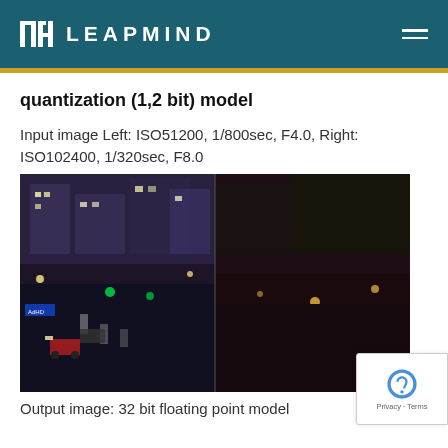LEAPMIND
quantization (1,2 bit) model
Input image Left: ISO51200, 1/800sec, F4.0, Right: ISO102400, 1/320sec, F8.0
[Figure (photo): Night scene photograph split into two panels: left side shows a brighter city street at night with traffic, buildings, and green traffic lights at ISO51200, 1/800sec, F4.0; right side shows a darker, noisier scene with sparse lights at ISO102400, 1/320sec, F8.0]
Output image: 32 bit floating point model